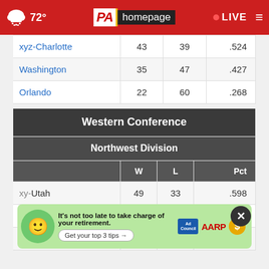PA homepage — 72° LIVE
|  | W | L | Pct |
| --- | --- | --- | --- |
| xyz-Charlotte | 43 | 39 | .524 |
| Washington | 35 | 47 | .427 |
| Orlando | 22 | 60 | .268 |
Western Conference
Northwest Division
|  | W | L | Pct |
| --- | --- | --- | --- |
| xy-Utah | 49 | 33 | .598 |
| x-Denver | 48 | 34 | .585 |
| x-Minn... |  |  |  |